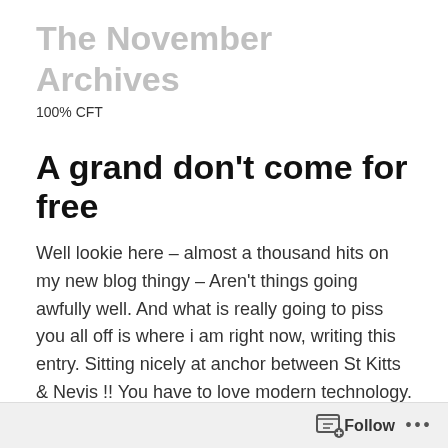The November Archives
100% CFT
A grand don't come for free
Well lookie here – almost a thousand hits on my new blog thingy – Aren't things going awfully well.  And what is really going to piss you all off is where i am right now, writing this entry.  Sitting nicely at anchor between St Kitts & Nevis !!  You have to love modern technology.
Tomorrow we head to Antigua – not my favourite place in the world.  You may remember that last season i endured 4...
Follow ...